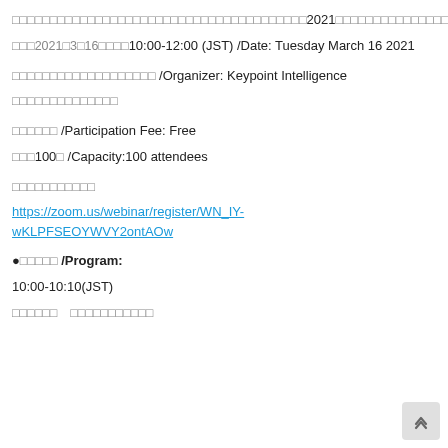□□□□□□□□□□□□□□□□□□□□□□□□□□□□□□□□□□□□□□□2021□□□□□□□□□□□□□□□□□□□□□□□□□□□□□□□□□□□□□
□□□2021□3□16□□□□10:00-12:00 (JST) /Date: Tuesday March 16 2021
□□□□□□□□□□□□□□□□□□□ /Organizer: Keypoint Intelligence □□□□□□□□□□□□□□
□□□□□□ /Participation Fee: Free
□□□100□ /Capacity:100 attendees
□□□□□□□□□□□
https://zoom.us/webinar/register/WN_IY-wKLPFSEOYWVY2ontAOw
●□□□□□ /Program:
10:00-10:10(JST)
□□□□□□□　□□□□□□□□□□□